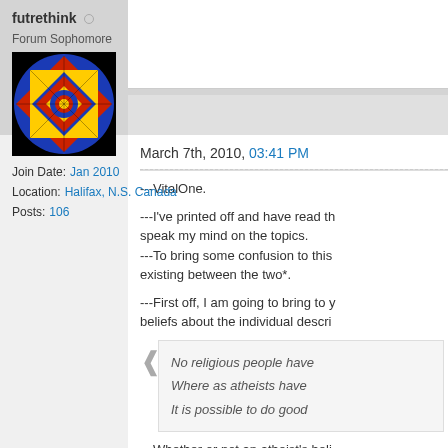futrethink ○
Forum Sophomore
[Figure (illustration): Colorful geometric mandala avatar with blue, red, yellow patterns on black background]
Join Date: Jan 2010
Location: Halifax, N.S. Canada
Posts: 106
March 7th, 2010, 03:41 PM
---VitalOne.
---I've printed off and have read th speak my mind on the topics.
---To bring some confusion to this existing between the two*.
---First off, I am going to bring to y beliefs about the individual descri
No religious people have
Where as atheists have
It is possible to do good
---Whether or not an atheist's beli the same for an atheist. If a theist their doing evil. Doesn't the old sa you."